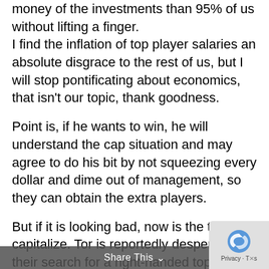money of the investments than 95% of us without lifting a finger. I find the inflation of top player salaries an absolute disgrace to the rest of us, but I will stop pontificating about economics, that isn't our topic, thank goodness.
Point is, if he wants to win, he will understand the cap situation and may agree to do his bit by not squeezing every dollar and dime out of management, so they can obtain the extra players.
But if it is looking bad, now is the time capitalize. Tor is reportedly desperate their search for a right-handed top D
Share This